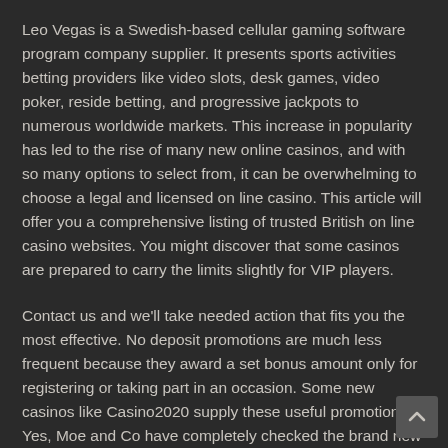Leo Vegas is a Swedish-based cellular gaming software program company supplier. It presents sports activities betting providers like video slots, desk games, video poker, reside betting, and progressive jackpots to numerous worldwide markets. This increase in popularity has led to the rise of many new online casinos, and with so many options to select from, it can be overwhelming to choose a legal and licensed on line casino. This article will offer you a comprehensive listing of trusted British on line casino websites. You might discover that some casinos are prepared to carry the limits slightly for VIP players.
Contact us and we'll take needed action that fits you the most effective. No deposit promotions are much less frequent because they award a set bonus amount only for registering or taking part in an occasion. Some new casinos like Casino2020 supply these useful promotions. Yes, Moe and Co have completely checked the brand new websites on this listing to ensure they're 100 percent legal and secure.
Competition between old and new casinos means they often update their deposit bonus, welcome offer packages, and special promotions. They additionally strive to offer the latest releases